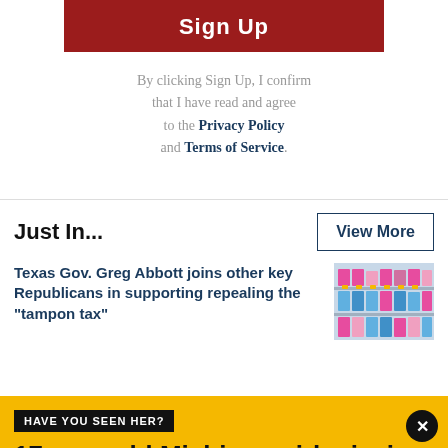Sign Up
By clicking Sign Up, I confirm that I have read and agree to the Privacy Policy and Terms of Service.
Just In...
View More
Texas Gov. Greg Abbott joins other key Republicans in supporting repealing the “tampon tax”
[Figure (photo): Photo of store shelf with feminine hygiene products]
HAVE YOU SEEN HER?
17-year-old Michigan girl missing from North Austin hotel
Destiny Wallag was last seen leaving the Spring Hill Suites on Stonelake Boulevard where she was staying with her father and brother on vacation.